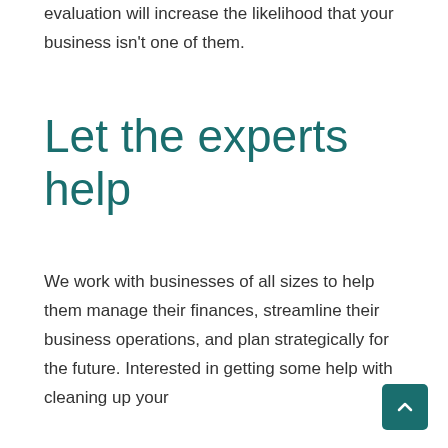evaluation will increase the likelihood that your business isn't one of them.
Let the experts help
We work with businesses of all sizes to help them manage their finances, streamline their business operations, and plan strategically for the future. Interested in getting some help with cleaning up your